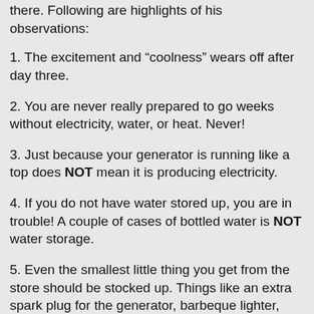there. Following are highlights of his observations:
1. The excitement and “coolness” wears off after day three.
2. You are never really prepared to go weeks without electricity, water, or heat. Never!
3. Just because your generator is running like a top does NOT mean it is producing electricity.
4. If you do not have water stored up, you are in trouble! A couple of cases of bottled water is NOT water storage.
5. Even the smallest little thing you get from the store should be stocked up. Things like an extra spark plug for the generator, barbeque lighter, batteries or matches.
6. It is surprising how quickly normal social behavior